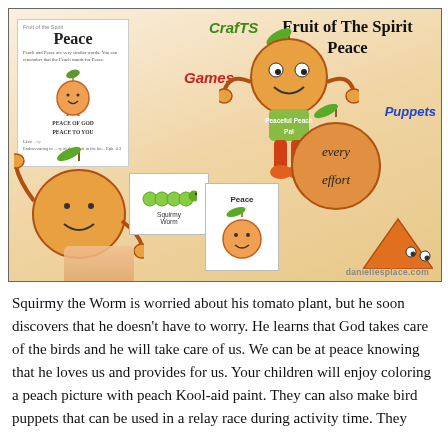[Figure (illustration): Collage image showing Fruit of the Spirit Peace themed educational crafts including a Peaceful Peach Pal puppet, coloring worksheets, squirmy worm card, peace peach card, and peach characters with words 'every effort'. Text labels: Crafts, Games, Puppets, Fruit of the Spirit Peace, daniellesplace.com watermark.]
Squirmy the Worm is worried about his tomato plant, but he soon discovers that he doesn't have to worry. He learns that God takes care of the birds and he will take care of us. We can be at peace knowing that he loves us and provides for us. Your children will enjoy coloring a peach picture with peach Kool-aid paint. They can also make bird puppets that can be used in a relay race during activity time. They